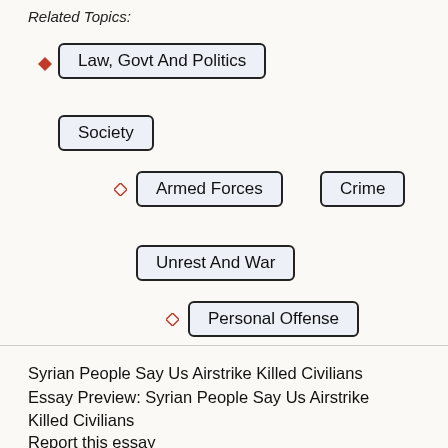Related Topics:
Law, Govt And Politics
Society
Armed Forces
Crime
Unrest And War
Personal Offense
Syrian People Say Us Airstrike Killed Civilians
Essay Preview: Syrian People Say Us Airstrike Killed Civilians
Report this essay
The article “Syrian People Say US Airstrike Killed Civilians” was written by an American journalist and a Syrian correspondent. They